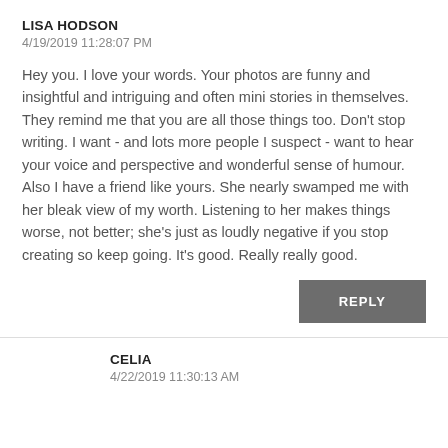LISA HODSON
4/19/2019 11:28:07 PM
Hey you. I love your words. Your photos are funny and insightful and intriguing and often mini stories in themselves. They remind me that you are all those things too. Don't stop writing. I want - and lots more people I suspect - want to hear your voice and perspective and wonderful sense of humour. Also I have a friend like yours. She nearly swamped me with her bleak view of my worth. Listening to her makes things worse, not better; she's just as loudly negative if you stop creating so keep going. It's good. Really really good.
REPLY
CELIA
4/22/2019 11:30:13 AM